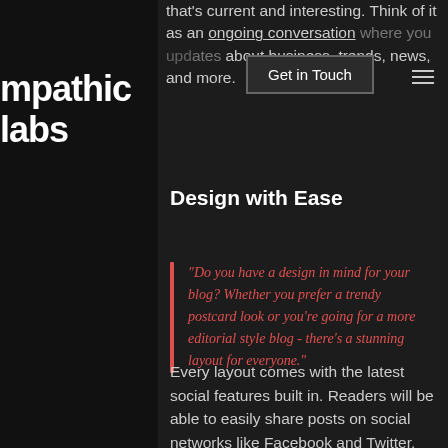that's current and interesting. Think of it as an ongoing conversation where you updates about business, trends, news, and more.
[Figure (screenshot): Get in Touch button with hamburger menu icon overlay on navigation]
mpathic labs
Design with Ease
“Do you have a design in mind for your blog? Whether you prefer a trendy postcard look or you're going for a more editorial style blog - there's a stunning layout for everyone.”
Every layout comes with the latest social features built in. Readers will be able to easily share posts on social networks like Facebook and Twitter, view how many people have liked a post, made comments and more. With Wix, building your